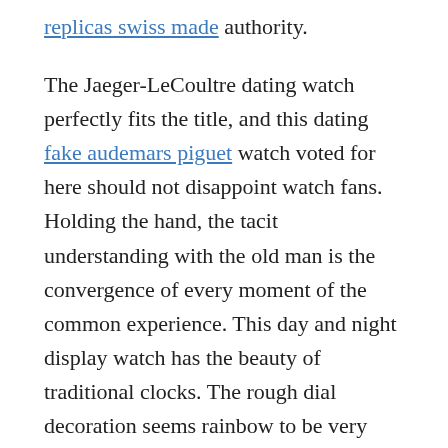replicas swiss made authority.
The Jaeger-LeCoultre dating watch perfectly fits the title, and this dating fake audemars piguet watch voted for here should not disappoint watch fans. Holding the hand, the tacit understanding with the old man is the convergence of every moment of the common experience. This day and night display watch has the beauty of traditional clocks. The rough dial decoration seems rainbow to be very incompatible with the characteristics of women's watches, but it actually gives a poetic texture like a shell. The large black Arabic numerals are in line with the needs of practical watch fans. The day and blue night display is